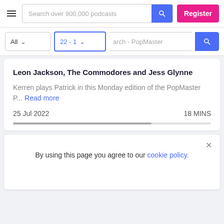Search over 900,000 podcasts | Register
All | 22 - 1 | Search - PopMaster
Leon Jackson, The Commodores and Jess Glynne
Kerren plays Patrick in this Monday edition of the PopMaster P... Read more
25 Jul 2022   18 MINS
By using this page you agree to our cookie policy.